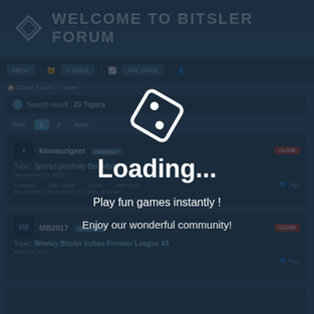WELCOME TO BITSLER FORUM
Menu | 0 online | Site Status
Bitsler Forum > Home
Search result : 20 Topics
Prev 1 2 Next
kinnaurigeet Moderator
Topic: Spread positivity On Bitsler
September 23, 2020
Tags
5 replies 986 Views Likes Members
last replied – September 27, 2020, 8:18 am
MB2017 Moderator
Topic: Weekly Bitsler Indian Premier League #3
April 25, 2021
Tags
[Figure (screenshot): Loading overlay with Bitsler dice logo icon and text 'Loading... Play fun games instantly! Enjoy our wonderful community!']